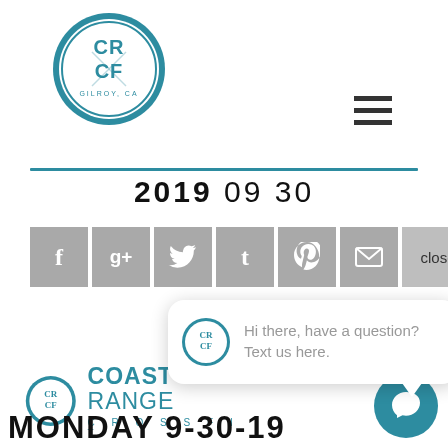[Figure (logo): CRCF Crossfit circular logo with teal border, GILROY, CA text]
2019 09 30
[Figure (screenshot): Social share bar with Facebook, Google+, Twitter, Tumblr, Pinterest, email, and close buttons]
[Figure (other): Chat bubble popup: CRCF logo icon with text 'Hi there, have a question? Text us here.']
[Figure (logo): Coast Range CrossFit logo with CRCF circle icon and COAST RANGE CROSSFIT text]
MONDAY 9-30-19